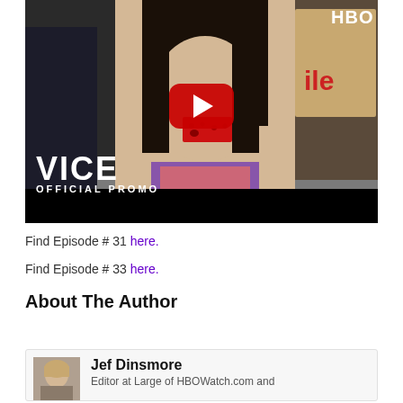[Figure (screenshot): VICE on HBO Official Promo video thumbnail showing a young Asian woman with red tape over her mouth at a protest, with the YouTube play button overlay, VICE logo bottom-left, OFFICIAL PROMO text, and HBO logo top-right. Black letterbox bar at bottom.]
Find Episode # 31 here.
Find Episode # 33 here.
About The Author
Jef Dinsmore
Editor at Large of HBOWatch.com and